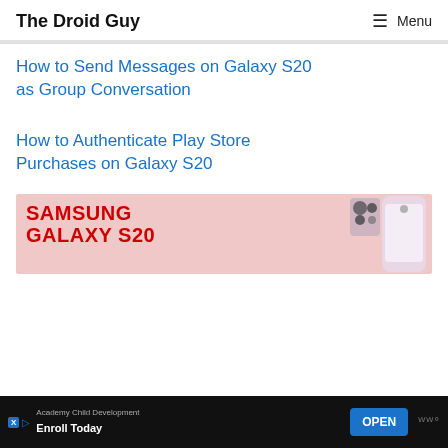The Droid Guy | Menu
How to Send Messages on Galaxy S20 as Group Conversation
How to Authenticate Play Store Purchases on Galaxy S20
[Figure (photo): Samsung Galaxy S20 advertisement banner with red text and phone image]
Academy Child Development — Enroll Today | OPEN